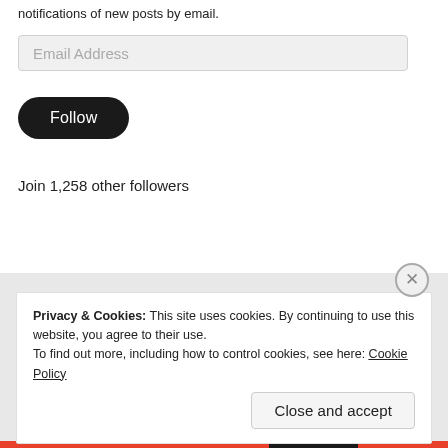notifications of new posts by email.
[Figure (screenshot): Email Address input field, light gray background with placeholder text]
[Figure (screenshot): Follow button, dark rounded rectangle]
Join 1,258 other followers
Privacy & Cookies: This site uses cookies. By continuing to use this website, you agree to their use.
To find out more, including how to control cookies, see here: Cookie Policy
[Figure (screenshot): Close and accept button]
[Figure (screenshot): X close button circle top right of cookie banner]